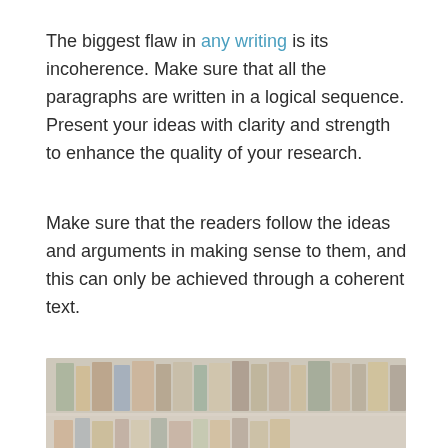The biggest flaw in any writing is its incoherence. Make sure that all the paragraphs are written in a logical sequence. Present your ideas with clarity and strength to enhance the quality of your research.
Make sure that the readers follow the ideas and arguments in making sense to them, and this can only be achieved through a coherent text.
[Figure (photo): A person's hands typing on a laptop keyboard, with bookshelves visible in the blurred background, suggesting a library or study environment.]